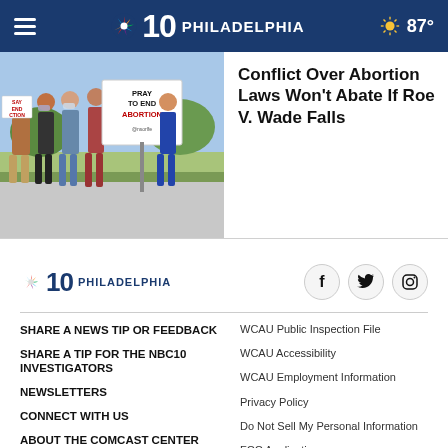NBC10 PHILADELPHIA | 87°
[Figure (photo): People walking with protest signs including 'PRAY TO END ABORTION' at an outdoor event]
Conflict Over Abortion Laws Won't Abate If Roe V. Wade Falls
[Figure (logo): NBC10 Philadelphia logo in footer]
SHARE A NEWS TIP OR FEEDBACK
SHARE A TIP FOR THE NBC10 INVESTIGATORS
NEWSLETTERS
CONNECT WITH US
ABOUT THE COMCAST CENTER CAMPUS
WCAU Public Inspection File
WCAU Accessibility
WCAU Employment Information
Privacy Policy
Do Not Sell My Personal Information
FCC Applications
TERMS OF SERVICE